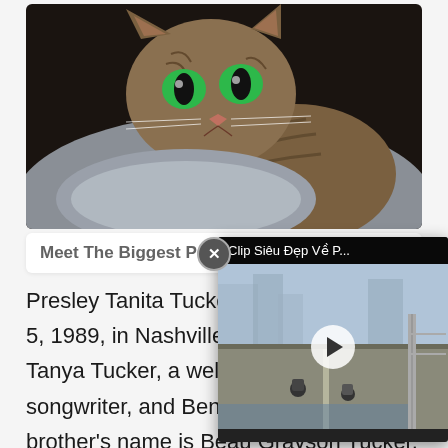[Figure (photo): Close-up photo of a large tabby cat with striking green eyes, lying on a grey cushion against a dark background.]
Meet The Biggest Pet Cats In The World
Presley Tanita Tucker was born on July 5, 1989, in Nashville, Tennessee, to Tanya Tucker, a well-known singer-songwriter, and Ben Reed, an actor. Her brother's name is Beau Grayson Tucker. H... and Jesse Tucker. T... Tucker and Robert... cousin, and her au...
[Figure (screenshot): Video overlay popup titled 'Clip Siêu Đẹp Về P...' showing a video thumbnail of people on a bridge/road scene, with a play button in the center and a close (X) button.]